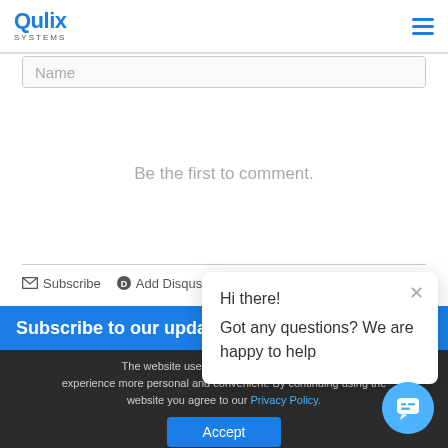Qulix Systems
Name
Be the first to comment.
Subscribe  Add Disqus
Subscribe to our updat
The website uses cookies for making your experience more personal and convenient. By continuing using the website you agree to our Privacy Policy.
Accept
Hi there!
Got any questions? We are happy to help